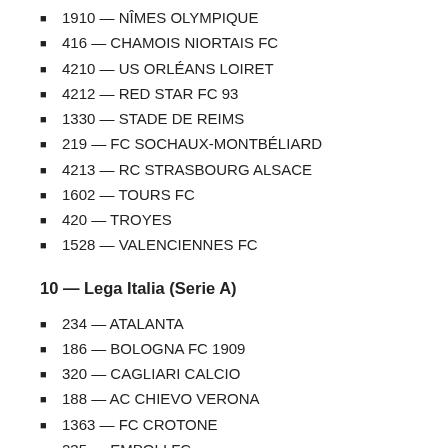1910 — NÎMES OLYMPIQUE
416 — CHAMOIS NIORTAIS FC
4210 — US ORLÉANS LOIRET
4212 — RED STAR FC 93
1330 — STADE DE REIMS
219 — FC SOCHAUX-MONTBÉLIARD
4213 — RC STRASBOURG ALSACE
1602 — TOURS FC
420 — TROYES
1528 — VALENCIENNES FC
10 — Lega Italia (Serie A)
234 — ATALANTA
186 — BOLOGNA FC 1909
320 — CAGLIARI CALCIO
188 — AC CHIEVO VERONA
1363 — FC CROTONE
235 — EMPOLI FC